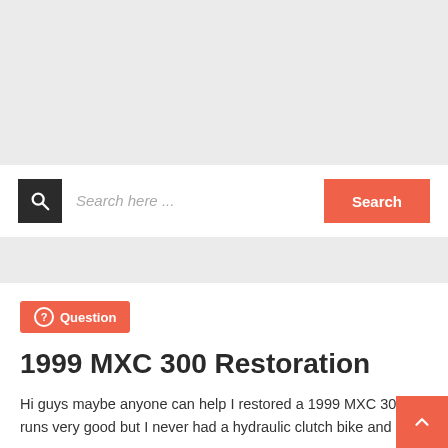[Figure (screenshot): Gray banner area at top of webpage]
Search here ...
Search
Question
1999 MXC 300 Restoration
Hi guys maybe anyone can help I restored a 1999 MXC 300 it runs very good but I never had a hydraulic clutch bike and